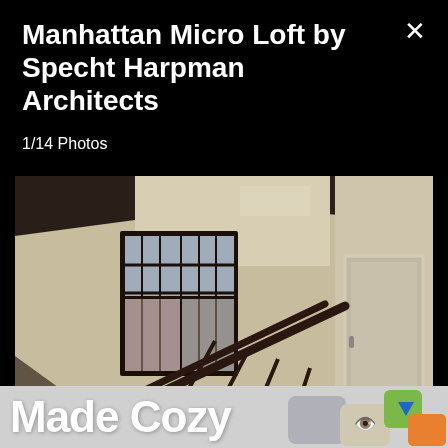Manhattan Micro Loft by Specht Harpman Architects
1/14 Photos
[Figure (photo): Interior photo of a Manhattan micro loft showing tall windows with dark frames, a staircase railing, and cream-colored walls with high ceilings.]
Made Cozy